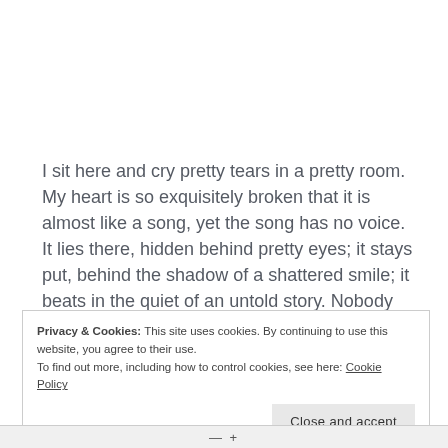I sit here and cry pretty tears in a pretty room. My heart is so exquisitely broken that it is almost like a song, yet the song has no voice. It lies there, hidden behind pretty eyes; it stays put, behind the shadow of a shattered smile; it beats in the quiet of an untold story. Nobody waited for it and so it waits for nobody, glorious freedom just out of reach.
Privacy & Cookies: This site uses cookies. By continuing to use this website, you agree to their use.
To find out more, including how to control cookies, see here: Cookie Policy
Close and accept